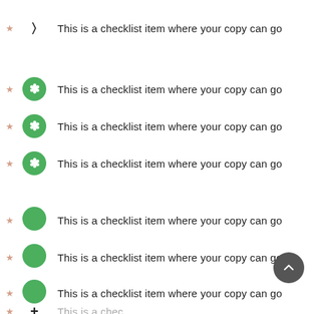This is a checklist item where your copy can go
This is a checklist item where your copy can go
This is a checklist item where your copy can go
This is a checklist item where your copy can go
This is a checklist item where your copy can go
This is a checklist item where your copy can go
This is a checklist item where your copy can go
This is a checklist item where your copy can go